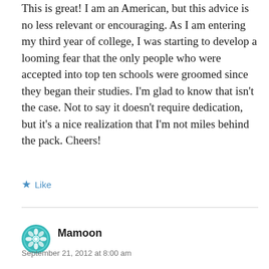This is great! I am an American, but this advice is no less relevant or encouraging. As I am entering my third year of college, I was starting to develop a looming fear that the only people who were accepted into top ten schools were groomed since they began their studies. I'm glad to know that isn't the case. Not to say it doesn't require dedication, but it's a nice realization that I'm not miles behind the pack. Cheers!
Like
Mamoon
September 21, 2012 at 8:00 am